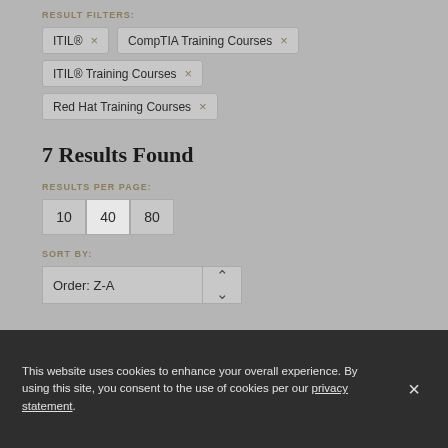RESULT FILTERS:
ITIL® ×
CompTIA Training Courses ×
ITIL® Training Courses ×
Red Hat Training Courses ×
7 Results Found
RESULTS PER PAGE:
10
40
80
SORT BY:
Order: Z-A
This website uses cookies to enhance your overall experience. By using this site, you consent to the use of cookies per our privacy statement.